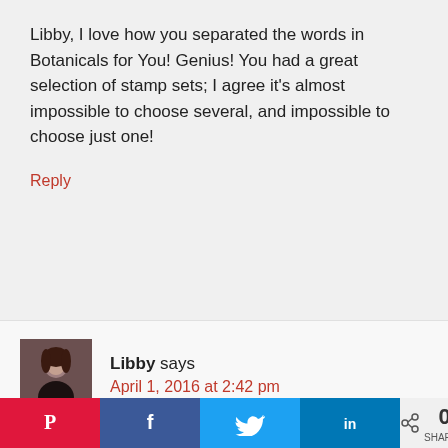Libby, I love how you separated the words in Botanicals for You! Genius! You had a great selection of stamp sets; I agree it's almost impossible to choose several, and impossible to choose just one!
Reply
[Figure (photo): Avatar photo of Libby — a woman with dark hair]
Libby says
April 1, 2016 at 2:42 pm
I just love this set Debbie! Once I got over that large stamp fear I haven't put it